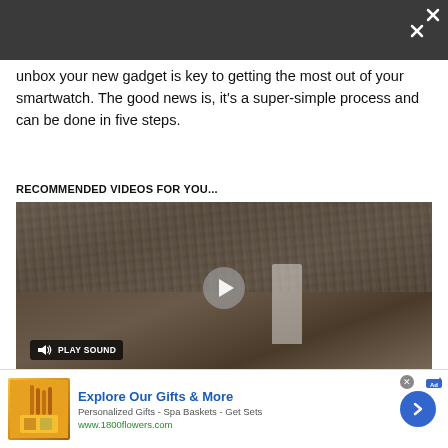[Figure (screenshot): Dark top navigation bar with expand/fullscreen icon in the top right corner]
unbox your new gadget is key to getting the most out of your smartwatch. The good news is, it's a super-simple process and can be done in five steps.
RECOMMENDED VIDEOS FOR YOU...
[Figure (screenshot): Video player showing a crowd scene with a person in a white wedding dress. Has a play button in the center and a muted speaker icon with PLAY SOUND button at bottom left.]
[Figure (advertisement): Advertisement for 1800flowers.com: Explore Our Gifts & More. Personalized Gifts - Spa Baskets - Get Sets. www.1800flowers.com. Shows product image on left and blue arrow button on right.]